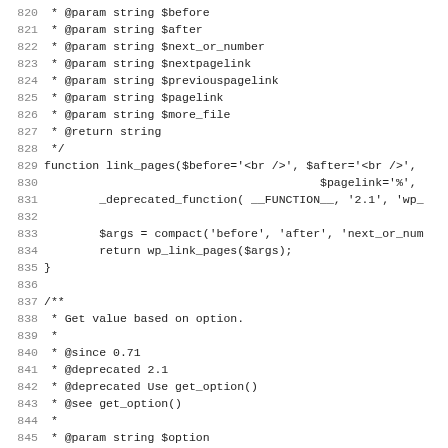Code listing lines 820-851 showing PHP function documentation and definitions for link_pages and get_settings functions.